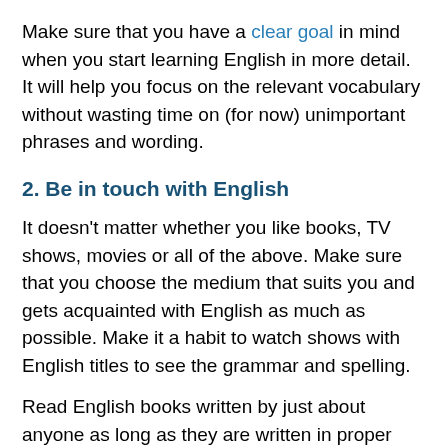Make sure that you have a clear goal in mind when you start learning English in more detail. It will help you focus on the relevant vocabulary without wasting time on (for now) unimportant phrases and wording.
2. Be in touch with English
It doesn't matter whether you like books, TV shows, movies or all of the above. Make sure that you choose the medium that suits you and gets acquainted with English as much as possible. Make it a habit to watch shows with English titles to see the grammar and spelling.
Read English books written by just about anyone as long as they are written in proper English language. Combine your thirst for knowledge with something you like to do and the entire process will become easier for it.
3. Copy from your idols
Every artist starts their career by copying from the works of their idols. The same logic applies to English writing as